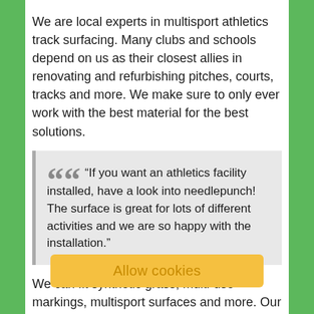We are local experts in multisport athletics track surfacing. Many clubs and schools depend on us as their closest allies in renovating and refurbishing pitches, courts, tracks and more. We make sure to only ever work with the best material for the best solutions.
"If you want an athletics facility installed, have a look into needlepunch! The surface is great for lots of different activities and we are so happy with the installation."
We can fit synthetic grass, multi-use markings, multisport surfaces and more. Our
Allow cookies
preserve them. This type of surfacing is